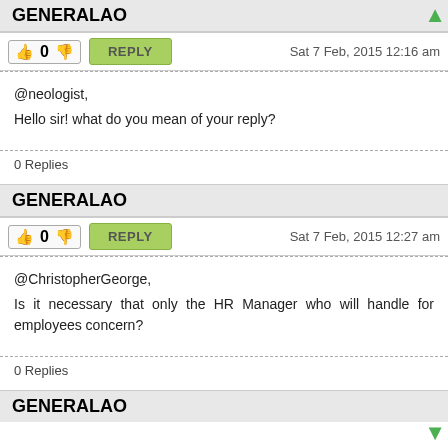GENERALAO
👍 0 👎  REPLY   Sat 7 Feb, 2015 12:16 am
@neologist,
Hello sir! what do you mean of your reply?
0 Replies
GENERALAO
👍 0 👎  REPLY   Sat 7 Feb, 2015 12:27 am
@ChristopherGeorge,
Is it necessary that only the HR Manager who will handle for employees concern?
0 Replies
GENERALAO